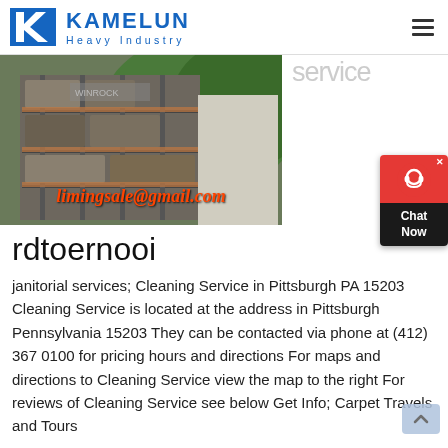KAMELUN Heavy Industry
[Figure (photo): Industrial heavy machinery building/plant with multiple floors, metal framework, and green hillside in background. Email address limingsale@gmail.com overlaid in orange italic text.]
rdtoernooi
janitorial services; Cleaning Service in Pittsburgh PA 15203 Cleaning Service is located at the address in Pittsburgh Pennsylvania 15203 They can be contacted via phone at (412) 367 0100 for pricing hours and directions For maps and directions to Cleaning Service view the map to the right For reviews of Cleaning Service see below Get Info; Carpet Travels and Tours